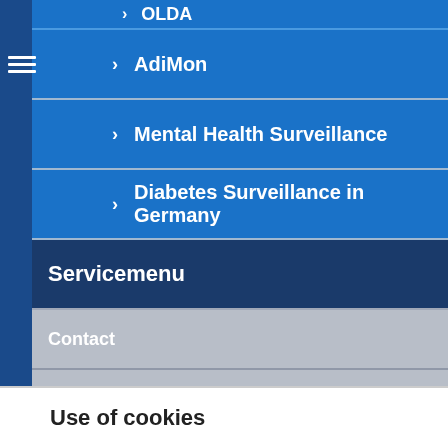OLDA (partial, top)
> AdiMon
> Mental Health Surveillance
> Diabetes Surveillance in Germany
Servicemenu
Contact
Sitemap
Imprint
Data Privacy Statement
Use of cookies